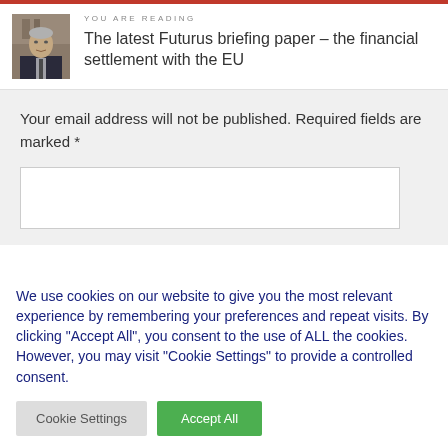[Figure (photo): Portrait photo of an older man in a suit, used as an article thumbnail]
YOU ARE READING
The latest Futurus briefing paper – the financial settlement with the EU
Your email address will not be published. Required fields are marked *
We use cookies on our website to give you the most relevant experience by remembering your preferences and repeat visits. By clicking "Accept All", you consent to the use of ALL the cookies. However, you may visit "Cookie Settings" to provide a controlled consent.